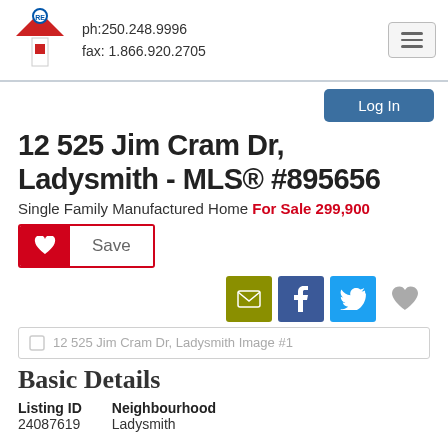ph:250.248.9996 fax: 1.866.920.2705
Log In
12 525 Jim Cram Dr, Ladysmith - MLS® #895656
Single Family Manufactured Home For Sale 299,900
[Figure (other): Save button with heart icon and Save label]
[Figure (other): Social sharing icons: email, Facebook, Twitter, and favorite heart]
12 525 Jim Cram Dr, Ladysmith Image #1
Basic Details
| Listing ID | Neighbourhood |
| --- | --- |
| 24087619 | Ladysmith |